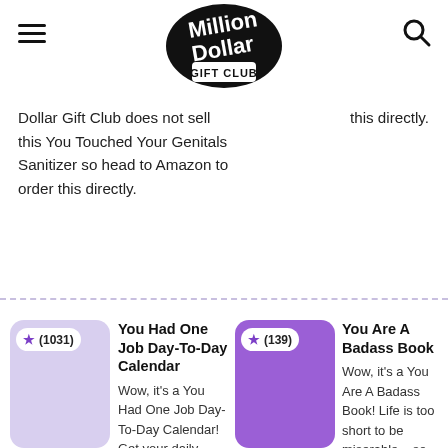Million Dollar Gift Club
Dollar Gift Club does not sell this You Touched Your Genitals Sanitizer so head to Amazon to order this directly.
this directly.
[Figure (illustration): Product card with light purple background showing star rating badge (1031 reviews)]
You Had One Job Day-To-Day Calendar
Wow, it's a You Had One Job Day-To-Day Calendar! Get your daily dose of
[Figure (illustration): Product card with dark purple background showing star rating badge (139 reviews)]
You Are A Badass Book
Wow, it's a You Are A Badass Book! Life is too short to be miserable – so create the life